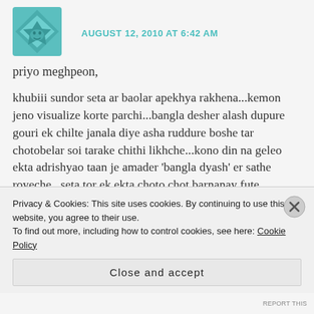AUGUST 12, 2010 AT 6:42 AM
priyo meghpeon,
khubiii sundor seta ar baolar apekhya rakhena...kemon jeno visualize korte parchi...bangla desher alash dupure gouri ek chilte janala diye asha ruddure boshe tar chotobelar soi tarake chithi likhche...kono din na geleo ekta adrishyao taan je amader 'bangla dyash' er sathe royeche...seta tor ek ekta choto chot barnanay fute utheche... “goyalander ghat” er galpo ta aio mone ache.. diduner theke
Privacy & Cookies: This site uses cookies. By continuing to use this website, you agree to their use.
To find out more, including how to control cookies, see here: Cookie Policy
Close and accept